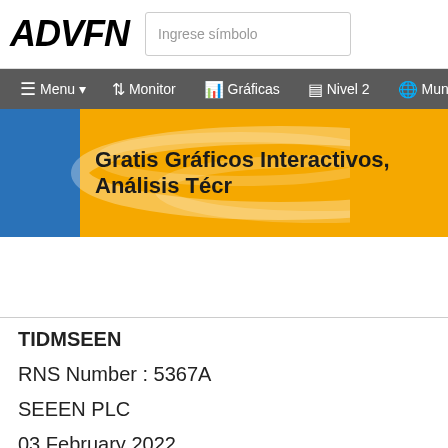ADVFN | Ingrese símbolo
Menu | Monitor | Gráficas | Nivel 2 | Mun
[Figure (illustration): ADVFN promotional banner with blue and gold gradient background, text: Gratis Gráficos Interactivos, Análisis Técn]
TIDMSEEN
RNS Number : 5367A
SEEEN PLC
03 February 2022